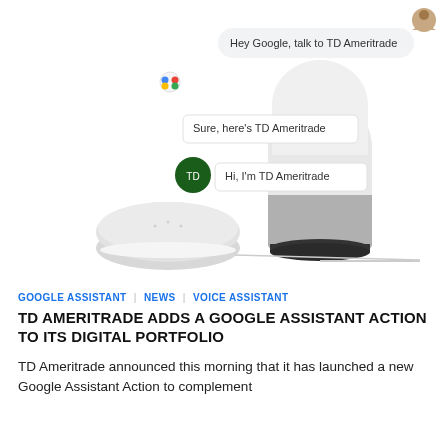[Figure (photo): Google Home and Google Home Mini smart speakers with a Google Assistant conversation interface overlay showing messages: 'Hey Google, talk to TD Ameritrade', 'Sure, here's TD Ameritrade', 'Hi, I'm TD Ameritrade' along with Google Assistant and TD Ameritrade icons.]
GOOGLE ASSISTANT | NEWS | VOICE ASSISTANT
TD AMERITRADE ADDS A GOOGLE ASSISTANT ACTION TO ITS DIGITAL PORTFOLIO
TD Ameritrade announced this morning that it has launched a new Google Assistant Action to complement